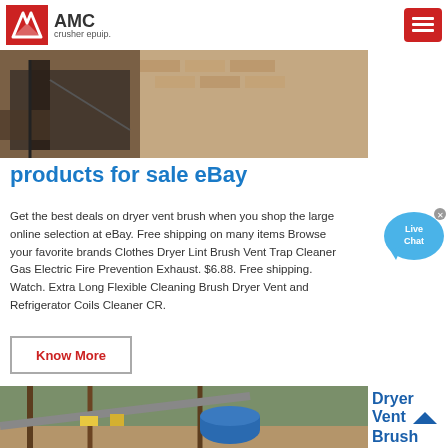AMC crusher epuip.
[Figure (photo): Construction or industrial site photo showing machinery or equipment near a brick wall]
products for sale eBay
Get the best deals on dryer vent brush when you shop the large online selection at eBay. Free shipping on many items Browse your favorite brands Clothes Dryer Lint Brush Vent Trap Cleaner Gas Electric Fire Prevention Exhaust. $6.88. Free shipping. Watch. Extra Long Flexible Cleaning Brush Dryer Vent and Refrigerator Coils Cleaner CR.
Know More
[Figure (photo): Industrial crushing or mining plant equipment viewed from above, with a blue cylindrical crusher in center]
Dryer Vent Brush